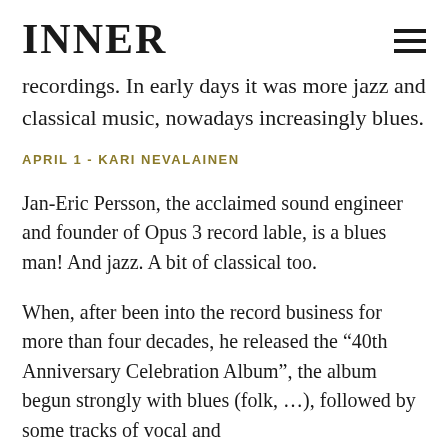INNER
recordings. In early days it was more jazz and classical music, nowadays increasingly blues.
APRIL 1 - KARI NEVALAINEN
Jan-Eric Persson, the acclaimed sound engineer and founder of Opus 3 record lable, is a blues man! And jazz. A bit of classical too.
When, after been into the record business for more than four decades, he released the “40th Anniversary Celebration Album”, the album begun strongly with blues (folk, …), followed by some tracks of vocal and